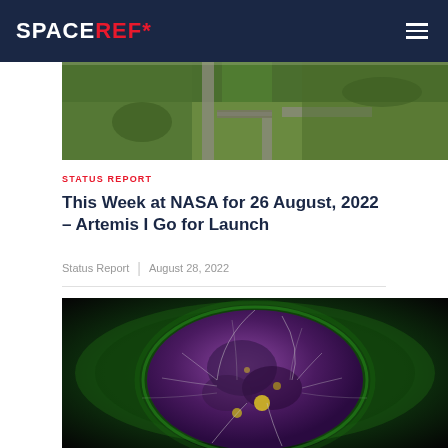SPACEREF*
[Figure (photo): Aerial photograph showing a launch facility with green landscape, roads, and infrastructure]
STATUS REPORT
This Week at NASA for 26 August, 2022 – Artemis I Go for Launch
Status Report | August 28, 2022
[Figure (photo): Scientific visualization of the Sun showing magnetic field lines over a purple and green solar image]